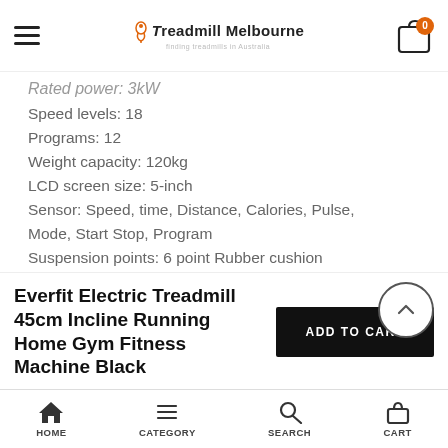Treadmill Melbourne — menu and cart
Rated power: 3kW (partial)
Speed levels: 18
Programs: 12
Weight capacity: 120kg
LCD screen size: 5-inch
Sensor: Speed, time, Distance, Calories, Pulse, Mode, Start Stop, Program
Suspension points: 6 point Rubber cushion
Shock Absorption system: Joint support butterfly spring shock control system
Everfit Electric Treadmill 45cm Incline Running Home Gym Fitness Machine Black
HOME  CATEGORY  SEARCH  CART